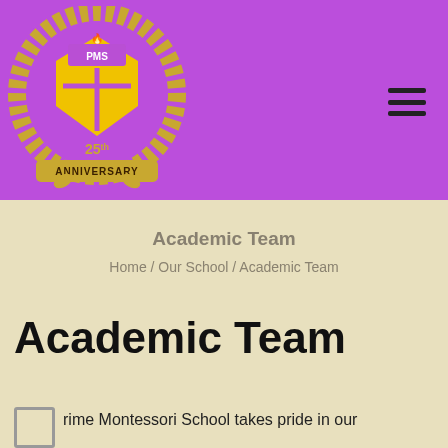[Figure (logo): PMS school crest/logo with laurel wreath, shield, and '25th Anniversary' banner on purple background]
Academic Team
Home / Our School / Academic Team
Academic Team
rime Montessori School takes pride in our